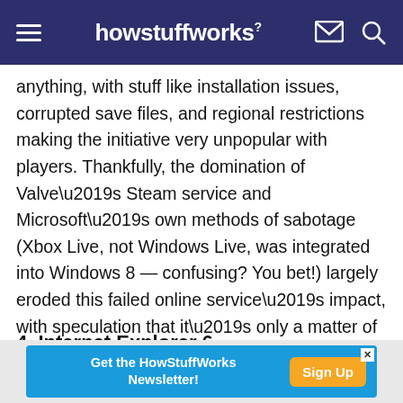howstuffworks
anything, with stuff like installation issues, corrupted save files, and regional restrictions making the initiative very unpopular with players. Thankfully, the domination of Valve’s Steam service and Microsoft’s own methods of sabotage (Xbox Live, not Windows Live, was integrated into Windows 8 — confusing? You bet!) largely eroded this failed online service’s impact, with speculation that it’s only a matter of time before Microsoft shuts it down completely.
4. Internet Explorer 6
[Figure (infographic): Advertisement banner: Get the HowStuffWorks Newsletter! Sign Up button]